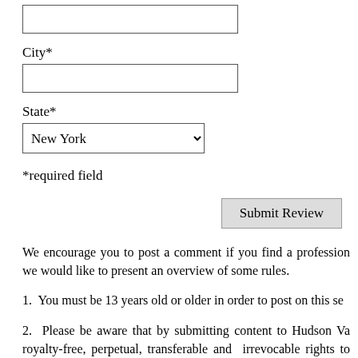[Figure (other): Empty text input box for a form field (top, partially visible)]
City*
[Figure (other): Empty text input box for City field]
State*
[Figure (other): Dropdown select box showing 'New York' with chevron]
*required field
[Figure (other): Submit Review button]
We encourage you to post a comment if you find a profession we would like to present an overview of some rules.
1.  You must be 13 years old or older in order to post on this se
2.  Please be aware that by submitting content to Hudson Va royalty-free, perpetual, transferable and  irrevocable rights to distribute, publish, create derivative works from and publicly